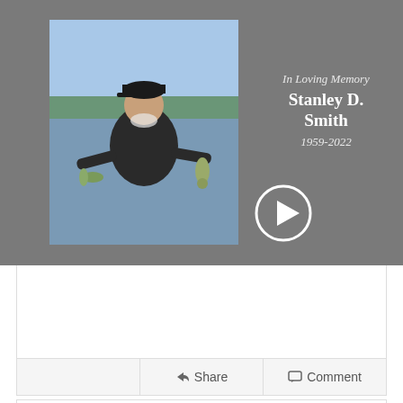[Figure (photo): Memorial video thumbnail showing a man holding fish outdoors near a lake, with grey background and play button overlay. Text reads 'In Loving Memory Stanley D. Smith 1959-2022']
In Loving Memory
Stanley D. Smith
1959-2022
Share   Comment
Sharon Loftin
7 months ago
So sorry for your loss. Morris Duncan, Board member d...